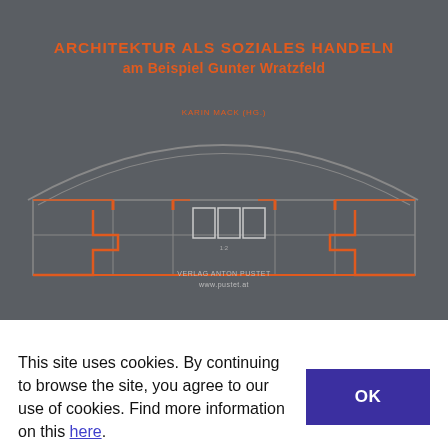[Figure (illustration): Book cover with dark gray background showing an architectural cross-section drawing in orange and gray lines depicting a building facade with arched roof, windows, and structural details. Title text in orange at top reads 'ARCHITEKTUR ALS SOZIALES HANDELN am Beispiel Gunter Wratzfeld'. Author name below title. Publisher name at bottom of cover.]
This site uses cookies. By continuing to browse the site, you agree to our use of cookies. Find more information on this here.